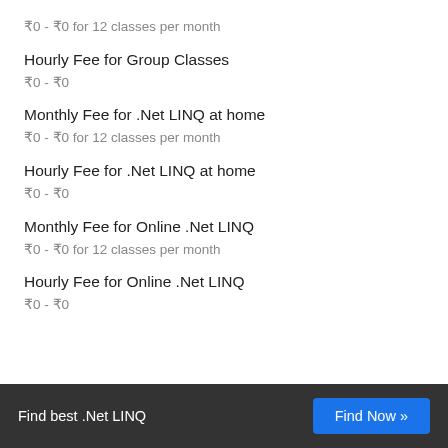₹0 - ₹0 for 12 classes per month
Hourly Fee for Group Classes
₹0 - ₹0
Monthly Fee for .Net LINQ at home
₹0 - ₹0 for 12 classes per month
Hourly Fee for .Net LINQ at home
₹0 - ₹0
Monthly Fee for Online .Net LINQ
₹0 - ₹0 for 12 classes per month
Hourly Fee for Online .Net LINQ
₹0 - ₹0
Find best .Net LINQ   Find Now »